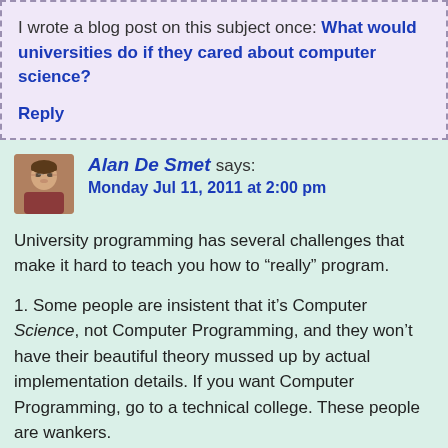I wrote a blog post on this subject once: What would universities do if they cared about computer science?
Reply
Alan De Smet says: Monday Jul 11, 2011 at 2:00 pm
University programming has several challenges that make it hard to teach you how to “really” program.
1. Some people are insistent that it’s Computer Science, not Computer Programming, and they won’t have their beautiful theory mussed up by actual implementation details. If you want Computer Programming, go to a technical college. These people are wankers.
2. Even if they’re not wankers, many professors would prefer to focus on the theory side. After all, they did